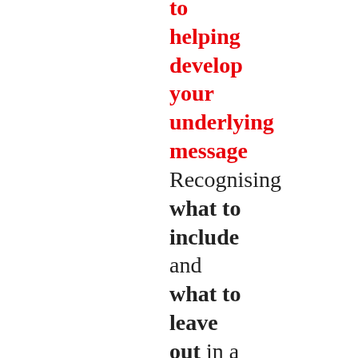to helping develop your underlying message Recognising what to include and what to leave out in a piece of descriptive writing is vital to making